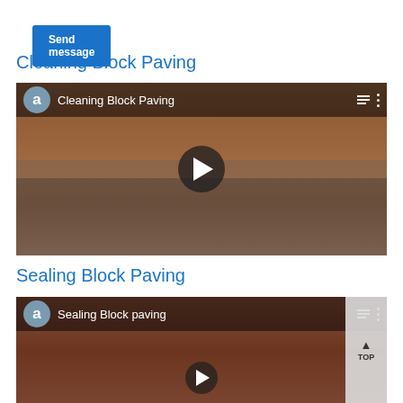Send message
Cleaning Block Paving
[Figure (screenshot): YouTube-style video thumbnail showing a person pressure washing block paving driveway in front of a brick house. A yellow surface cleaner attachment is being used. Video title bar shows 'Cleaning Block Paving' with a circular avatar showing 'a'. Play button visible in center.]
Sealing Block Paving
[Figure (screenshot): YouTube-style video thumbnail showing close-up of block paving surface being sealed. Video title bar shows 'Sealing Block paving' with a circular avatar showing 'a'. A 'TOP' button is visible on the right side. Partial play button visible at bottom.]